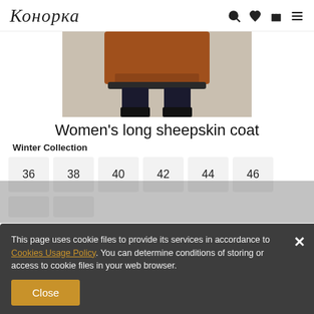Konopka
[Figure (photo): Product photo of a women's long sheepskin coat, showing torso and legs in brown/tan coat with black fur trim and black boots/stockings]
Women's long sheepskin coat
Winter Collection
Sizes: 36, 38, 40, 42, 44, 46
This page uses cookie files to provide its services in accordance to Cookies Usage Policy. You can determine conditions of storing or access to cookie files in your web browser.